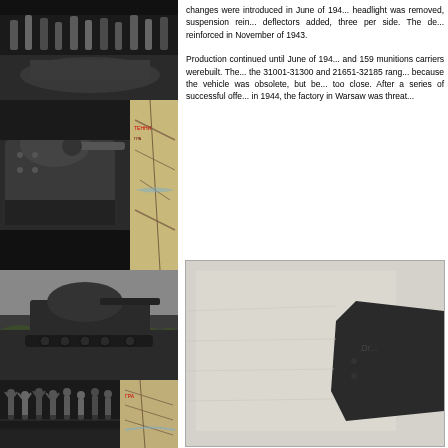[Figure (photo): Black and white collage of historical military photos on left side: top shows soldiers/people in street, middle left shows tank with gun barrel close-up, middle right shows a map fragment, large center shows tank in field, bottom left shows soldiers celebrating, bottom right shows document/map fragment]
changes were introduced in June of 194... headlight was removed, suspension rein... deflectors added, three per side. The de... reinforced in November of 1943.

Production continued until June of 194... and 159 munitions carriers werebuilt. The... the 31001-31300 and 21651-32185 rang... because the vehicle was obsolete, but be... too close. After a series of successful offe... in 1944, the factory in Warsaw was threat...
[Figure (photo): Black and white photograph showing what appears to be a tank or armored vehicle turret/hull, partially cropped, with light background]